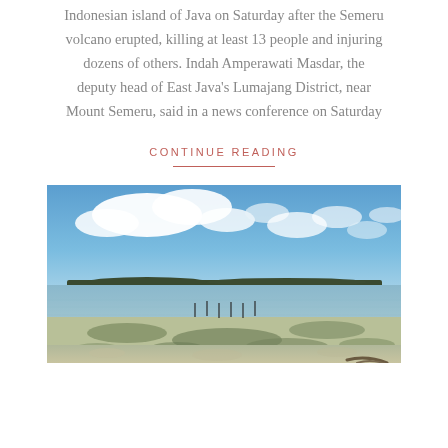Indonesian island of Java on Saturday after the Semeru volcano erupted, killing at least 13 people and injuring dozens of others. Indah Amperawati Masdar, the deputy head of East Java's Lumajang District, near Mount Semeru, said in a news conference on Saturday
CONTINUE READING
[Figure (photo): A coastal scene showing a shallow tidal flat with algae-covered sandy seabed in the foreground, calm water in the middle distance, a flat island or landmass on the horizon, and a partly cloudy blue sky above.]